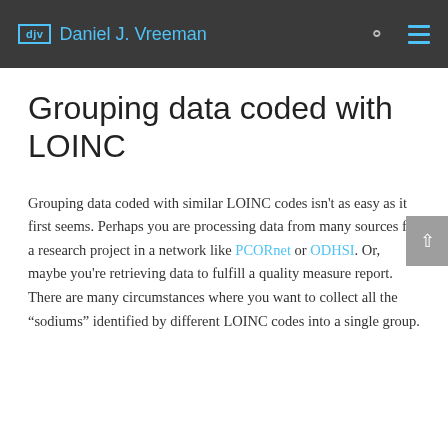djv  Daniel J. Vreeman
Grouping data coded with LOINC
Grouping data coded with similar LOINC codes isn't as easy as it first seems. Perhaps you are processing data from many sources for a research project in a network like PCORnet or ODHSI. Or, maybe you're retrieving data to fulfill a quality measure report. There are many circumstances where you want to collect all the “sodiums” identified by different LOINC codes into a single group.